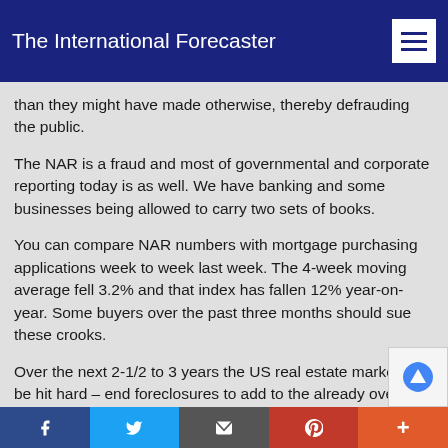The International Forecaster
than they might have made otherwise, thereby defrauding the public.
The NAR is a fraud and most of governmental and corporate reporting today is as well. We have banking and some businesses being allowed to carry two sets of books.
You can compare NAR numbers with mortgage purchasing applications week to week last week. The 4-week moving average fell 3.2% and that index has fallen 12% year-on-year. Some buyers over the past three months should sue these crooks.
Over the next 2-1/2 to 3 years the US real estate market will be hit hard – end foreclosures to add to the already over abundance of such real estate foreclosed inventory. Now that most of the lower end homes have been dealt with it is time to take on the
f  Twitter  Email  Pinterest  +